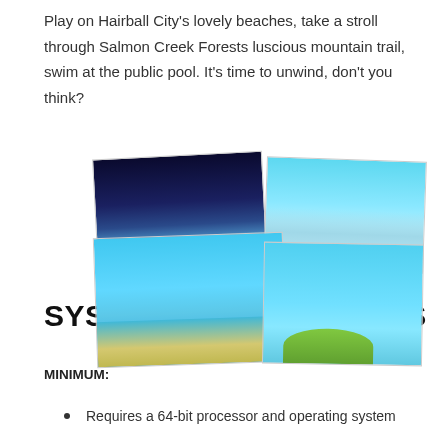Play on Hairball City's lovely beaches, take a stroll through Salmon Creek Forests luscious mountain trail, swim at the public pool. It's time to unwind, don't you think?
[Figure (screenshot): A collage of four game screenshots showing winter and beach scenes from a video game, including a nighttime snowy scene, a daytime winter forest, a beach island scene, and an island with a character.]
SYSTEM REQUIREMENTS
MINIMUM:
Requires a 64-bit processor and operating system